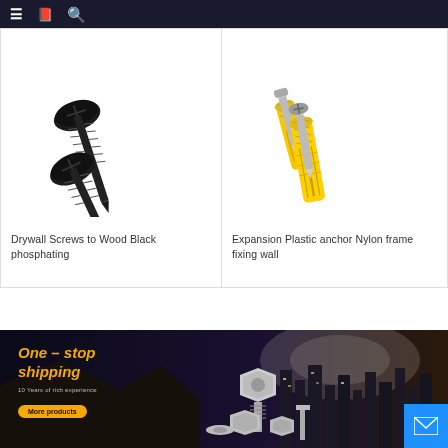≡  [book icon]  🔍
[Figure (photo): Two black phosphated drywall screws to wood on white background]
Drywall Screws to Wood Black phosphating
[Figure (photo): Yellow nylon expansion plastic anchor with metallic screw, frame fixing wall anchors on white background]
Expansion Plastic anchor Nylon frame fixing wall
[Figure (photo): Dark promotional banner with bolts, nuts and fasteners. Text: One – stop shipping. 10 Years of rich experience. More products button.]